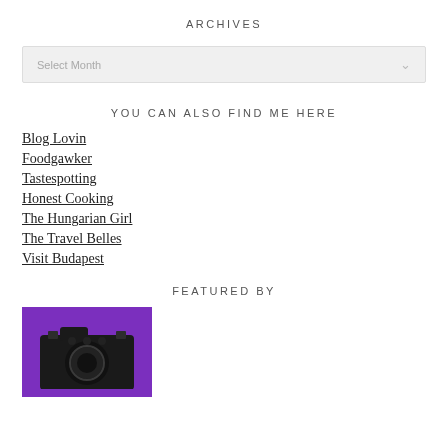ARCHIVES
[Figure (screenshot): Dropdown select box with placeholder text 'Select Month' and a chevron arrow on the right]
YOU CAN ALSO FIND ME HERE
Blog Lovin
Foodgawker
Tastespotting
Honest Cooking
The Hungarian Girl
The Travel Belles
Visit Budapest
FEATURED BY
[Figure (photo): Partially visible image with purple background and a black camera icon]